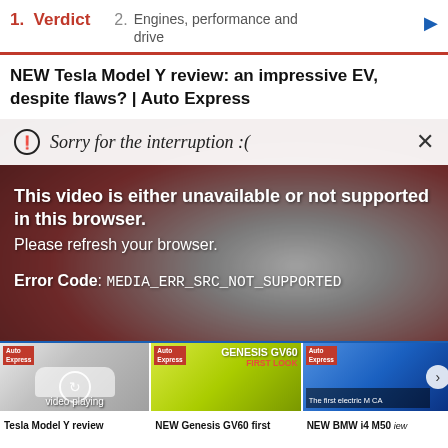1. Verdict   2. Engines, performance and drive
NEW Tesla Model Y review: an impressive EV, despite flaws? | Auto Express
[Figure (screenshot): Video player showing an error overlay on a blurred car background image. Error message reads: 'Sorry for the interruption :(' with an info icon and close button. Below: 'This video is either unavailable or not supported in this browser. Please refresh your browser. Error Code: MEDIA_ERR_SRC_NOT_SUPPORTED']
[Figure (screenshot): Thumbnail strip with three video thumbnails: 1) Tesla Model Y review (white car, 'video playing' label), 2) NEW Genesis GV60 first look (yellow-green car with GENESIS GV60 FIRST LOOK overlay), 3) NEW BMW i4 M50 (blue car). A right-arrow navigation button is visible.]